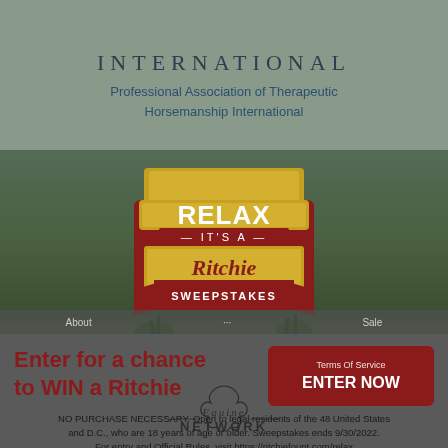INTERNATIONAL
Professional Association of Therapeutic Horsemanship International
[Figure (logo): Ritchie Sweepstakes badge logo with text: RELAX IT'S A Ritchie SWEEPSTAKES, set on green background with grass]
Enter for a chance to WIN a Ritchie
ENTER NOW
NO PURCHASE NECESSARY. Open to legal residents of the 48 United States and D.C., who are 18 years of age or older. Sweepstakes ends 9/30/2022. For entry and Official Rules, visit https://ritchiefount.com/relax
[Figure (logo): Equine Network watermark logo]